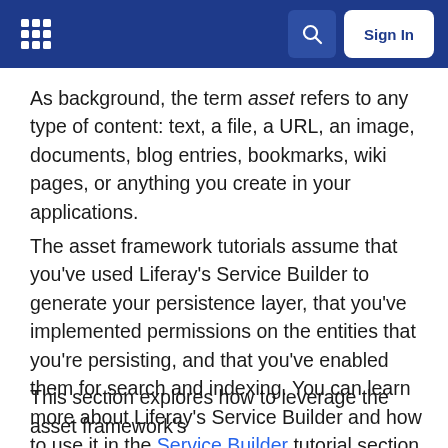Liferay documentation header with logo, search, and Sign In button
As background, the term asset refers to any type of content: text, a file, a URL, an image, documents, blog entries, bookmarks, wiki pages, or anything you create in your applications.
The asset framework tutorials assume that you’ve used Liferay’s Service Builder to generate your persistence layer, that you’ve implemented permissions on the entities that you’re persisting, and that you’ve enabled them for search and indexing. You can learn more about Liferay’s Service Builder and how to use it in the Service Builder tutorial section. After that is completed, you can get started asset enabling your application.
This section explores how to leverage the asset framework’s